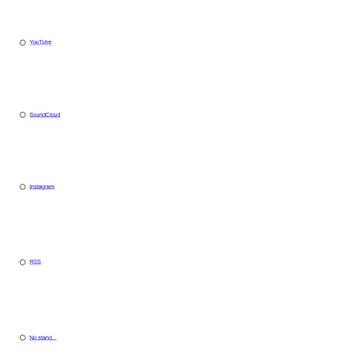YouTube
SoundCloud
Instagram
RSS
No stand...